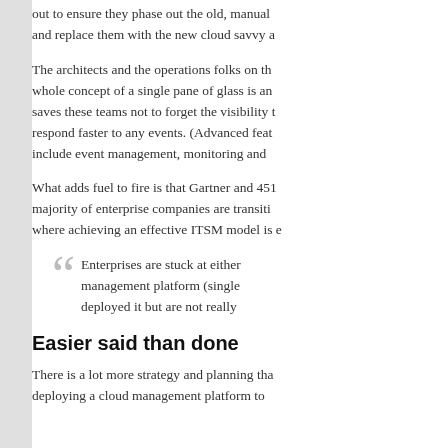out to ensure they phase out the old, manual processes and replace them with the new cloud savvy a
The architects and the operations folks on th whole concept of a single pane of glass is an saves these teams not to forget the visibility t respond faster to any events. (Advanced feat include event management, monitoring and
What adds fuel to fire is that Gartner and 451 majority of enterprise companies are transiti where achieving an effective ITSM model is e
Enterprises are stuck at either management platform (single deployed it but are not really
Easier said than done
There is a lot more strategy and planning tha deploying a cloud management platform to